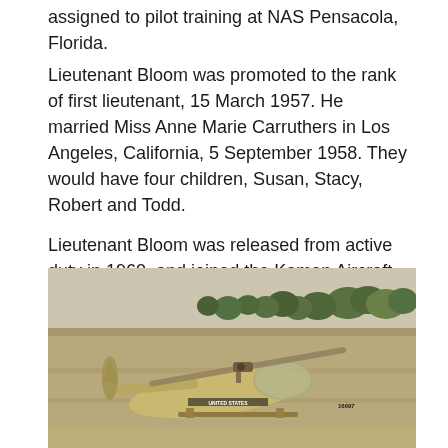assigned to pilot training at NAS Pensacola, Florida.
Lieutenant Bloom was promoted to the rank of first lieutenant, 15 March 1957. He married Miss Anne Marie Carruthers in Los Angeles, California, 5 September 1958. They would have four children, Susan, Stacy, Robert and Todd.
Lieutenant Bloom was released from active duty in 1960, and joined the Kaman Aircraft Corporation as a test pilot. In 1961, began his 29-year career as an experimental test pilot with the Bell Helicopter Company.
[Figure (photo): Vintage photograph of a military helicopter in flight, labeled 'UNITED STATES' with tail number 16697, flying low over an open field with trees in the background.]